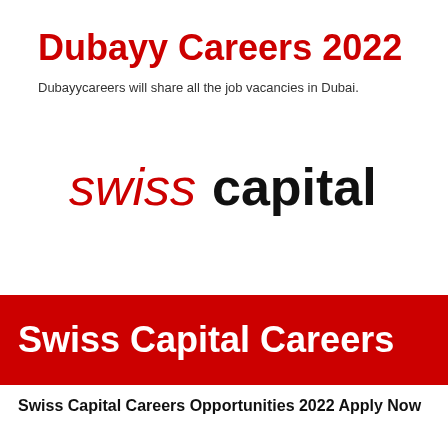Dubayy Careers 2022
Dubayycareers will share all the job vacancies in Dubai.
[Figure (logo): Swiss Capital logo: 'swiss' in red lowercase italic and 'capital' in bold black lowercase]
[Figure (infographic): Red banner with white bold text reading 'Swiss Capital Careers']
Swiss Capital Careers Opportunities 2022 Apply Now